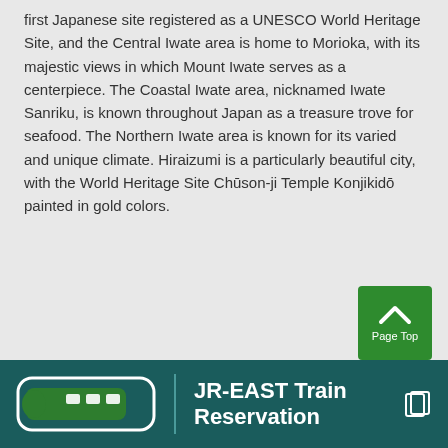first Japanese site registered as a UNESCO World Heritage Site, and the Central Iwate area is home to Morioka, with its majestic views in which Mount Iwate serves as a centerpiece. The Coastal Iwate area, nicknamed Iwate Sanriku, is known throughout Japan as a treasure trove for seafood. The Northern Iwate area is known for its varied and unique climate. Hiraizumi is a particularly beautiful city, with the World Heritage Site Chūson-ji Temple Konjikidō painted in gold colors.
[Figure (other): Green 'Page Top' button with upward arrow chevron icon]
JR-EAST Train Reservation